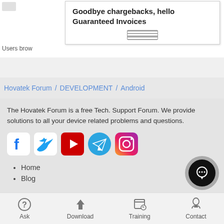[Figure (screenshot): Popup ad box with text 'Goodbye chargebacks, hello Guaranteed Invoices' and a lines/hamburger icon below]
Users brow
Hovatek Forum / DEVELOPMENT / Android
The Hovatek Forum is a free Tech. Support Forum. We provide solutions to all your device related problems and questions.
[Figure (infographic): Social media icons: Facebook, Twitter, YouTube, Telegram, Instagram]
Home
Blog
Ask | Download | Training | Contact